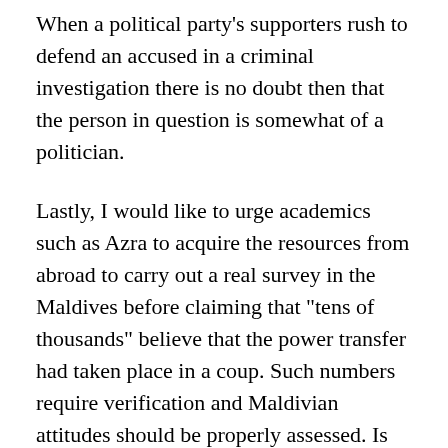When a political party's supporters rush to defend an accused in a criminal investigation there is no doubt then that the person in question is somewhat of a politician.
Lastly, I would like to urge academics such as Azra to acquire the resources from abroad to carry out a real survey in the Maldives before claiming that "tens of thousands" believe that the power transfer had taken place in a coup. Such numbers require verification and Maldivian attitudes should be properly assessed. Is such believe widespread? Is there widespread condemnation for such a coup?
There are numbers however for how Nasheed was elected. I think we all have repeated time and time again that he came to the Presidency with the support of two other popular figures who secured almost the same percentage of public support as he